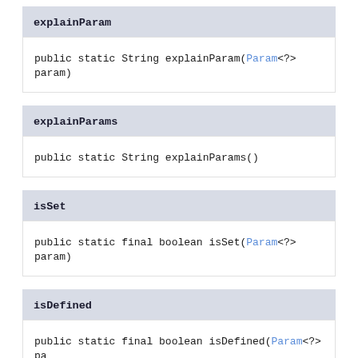explainParam
public static String explainParam(Param<?> param)
explainParams
public static String explainParams()
isSet
public static final boolean isSet(Param<?> param)
isDefined
public static final boolean isDefined(Param<?> pa
hasParam